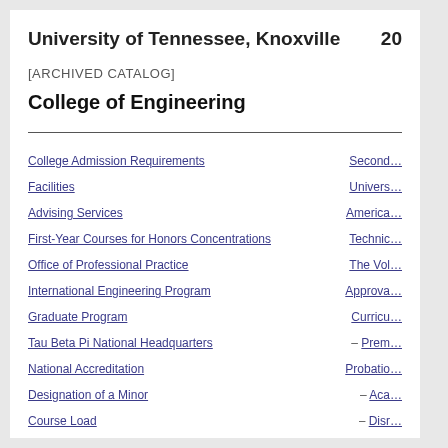University of Tennessee, Knoxville  20…
[ARCHIVED CATALOG]
College of Engineering
College Admission Requirements
Facilities
Advising Services
First-Year Courses for Honors Concentrations
Office of Professional Practice
International Engineering Program
Graduate Program
Tau Beta Pi National Headquarters
National Accreditation
Designation of a Minor
Course Load
Second…
Univers…
America…
Technic…
The Vol…
Approva…
Curricu…
– Prem…
Probatio…
– Aca…
– Disr…